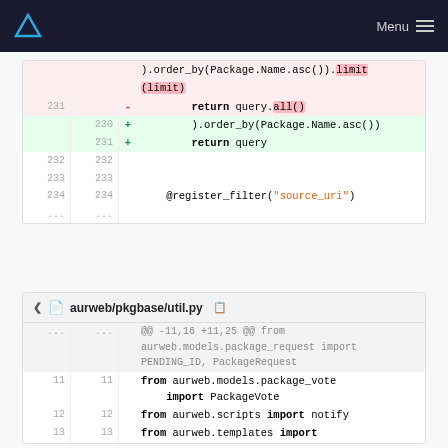Menu
[Figure (screenshot): Code diff showing two blocks. First block shows lines 231-234 with a deletion of 'return query.all()' on line 231 and additions of ').order_by(Package.Name.asc())' on line 230 and 'return query' on line 231. Second block is for aurweb/pkgbase/util.py showing lines 11-13 with import statements.]
aurweb/pkgbase/util.py
@@ -11,16 +11,25 @@ from aurweb.models.package_request import PENDING_ID, PackageRequest
11   from aurweb.models.package_vote import PackageVote
12   from aurweb.scripts import notify
13   from aurweb.templates import make_context as _make_context